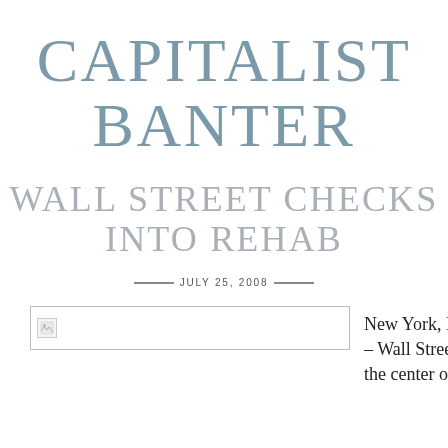CAPITALIST BANTER
WALL STREET CHECKS INTO REHAB
JULY 25, 2008
[Figure (photo): Broken image placeholder, partially loaded image icon]
New York, NY – Wall Street, the center of